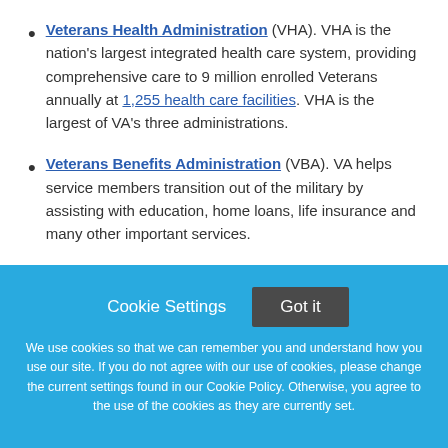Veterans Health Administration (VHA). VHA is the nation's largest integrated health care system, providing comprehensive care to 9 million enrolled Veterans annually at 1,255 health care facilities. VHA is the largest of VA's three administrations.
Veterans Benefits Administration (VBA). VA helps service members transition out of the military by assisting with education, home loans, life insurance and many other important services.
Cookie Settings  Got it  We use cookies so that we can remember you and understand how you use our site. If you do not agree with our use of cookies, please change the current settings found in our Cookie Policy. Otherwise, you agree to the use of the cookies as they are currently set.